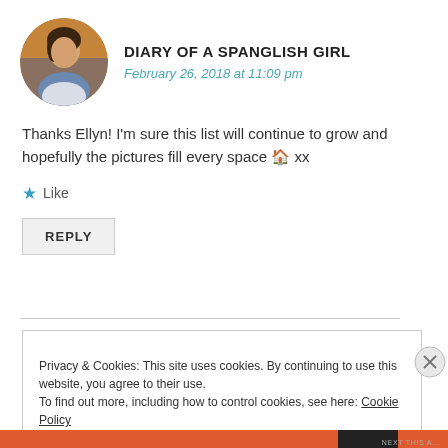[Figure (photo): Circular avatar photo of a woman with dark hair]
DIARY OF A SPANGLISH GIRL
February 26, 2018 at 11:09 pm
Thanks Ellyn! I'm sure this list will continue to grow and hopefully the pictures fill every space 🏠 xx
★ Like
REPLY
Privacy & Cookies: This site uses cookies. By continuing to use this website, you agree to their use.
To find out more, including how to control cookies, see here: Cookie Policy
Close and accept